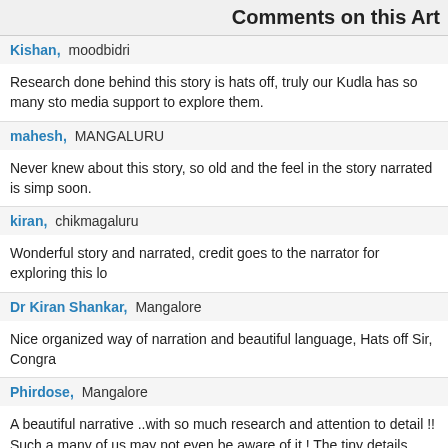Comments on this Art
Kishan,  moodbidri
Research done behind this story is hats off, truly our Kudla has so many sto media support to explore them.
mahesh,  MANGALURU
Never knew about this story, so old and the feel in the story narrated is simp soon.
kiran,  chikmagaluru
Wonderful story and narrated, credit goes to the narrator for exploring this lo
Dr Kiran Shankar,  Mangalore
Nice organized way of narration and beautiful language, Hats off Sir, Congra
Phirdose,  Mangalore
A beautiful narrative ..with so much research and attention to detail !! Such a many of us may not even be aware of it ! The tiny details about Mangalore m enriching article ! Just makes us more curious to know more about our hom
Mohan Kumar Naranthatta,  Kasaragod, Kerala
A big salute for the enormous research and references that you had underta regards to the Nair Lady Ashu , this coastal villages upto Trikarpur were till n and Malabar was closely linked to Mangalore . Congratulations Sir !